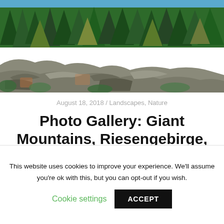[Figure (photo): Panoramic landscape photo of Giant Mountains showing rocky outcrops in the foreground and dense coniferous forest in the background under a blue sky]
August 18, 2018 / Landscapes, Nature
Photo Gallery: Giant Mountains, Riesengebirge, Karkonosze, Krkonoše 2017/2018
Images of the Giant Mountains ( German: Riesengebirge, Polish: Karkonosze, Czech: Krkonoše)
read more ▶▶▶▶▶▶
This website uses cookies to improve your experience. We'll assume you're ok with this, but you can opt-out if you wish.